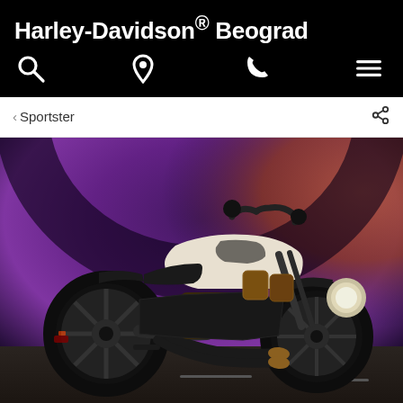Harley-Davidson® Beograd
[Figure (other): Navigation icons bar: search (magnifying glass), location pin, phone, hamburger menu — white icons on black background]
‹ Sportster
[Figure (photo): Harley-Davidson Sportster S motorcycle in black and white colorway, parked in a purple-lit tunnel, shot from the left side showing the V-twin engine, fat tires, low profile seat, and dual exhaust pipes]